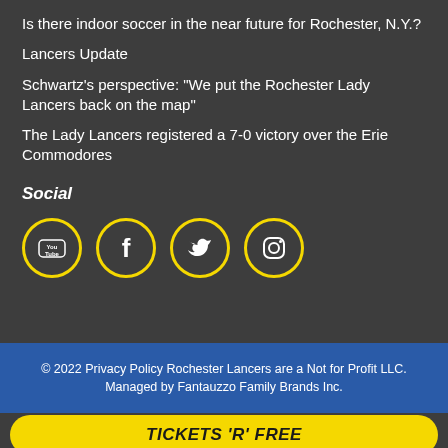Is there indoor soccer in the near future for Rochester, N.Y.?
Lancers Update
Schwartz's perspective: "We put the Rochester Lady Lancers back on the map"
The Lady Lancers registered a 7-0 victory over the Erie Commodores
Social
[Figure (infographic): Four social media icons (YouTube, Facebook, Twitter, Instagram) each in yellow circle outlines on dark background]
© 2022 Privacy Policy Rochester Lancers are a Not for Profit LLC. Managed by Fantauzzo Family Brands Inc.
TICKETS 'R' FREE